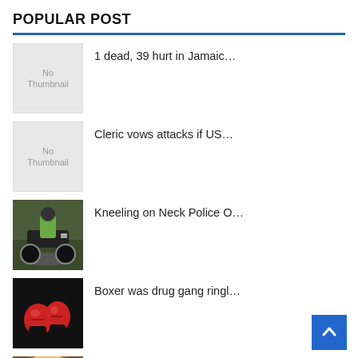POPULAR POST
1 dead, 39 hurt in Jamaic…
Cleric vows attacks if US…
Kneeling on Neck Police O…
Boxer was drug gang ringl…
Donald Trump Must Never G…